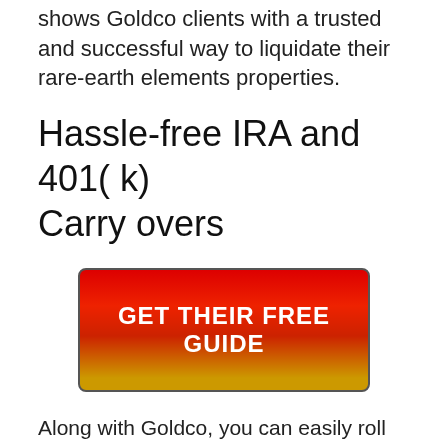shows Goldco clients with a trusted and successful way to liquidate their rare-earth elements properties.
Hassle-free IRA and 401( k) Carry overs
[Figure (other): Red to orange gradient call-to-action button with text 'GET THEIR FREE GUIDE' in white bold letters]
Along with Goldco, you can easily roll over your funds coming from existing retirement investment programs like various other sustained IRAs as well as 401( k) profiles.
Information-rich Educational Assets. If you are actually seeking to establish an